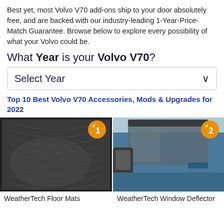Best yet, most Volvo V70 add-ons ship to your door absolutely free, and are backed with our industry-leading 1-Year-Price-Match Guarantee. Browse below to explore every possibility of what your Volvo could be.
What Year is your Volvo V70?
Select Year
Top 10 Best Volvo V70 Accessories, Mods & Upgrades for 2022
[Figure (photo): Car floor mat (rubber, dark gray, textured pattern) with orange badge showing #1]
WeatherTech Floor Mats
[Figure (photo): Car window deflector on blue vehicle door with orange badge showing #2]
WeatherTech Window Deflector